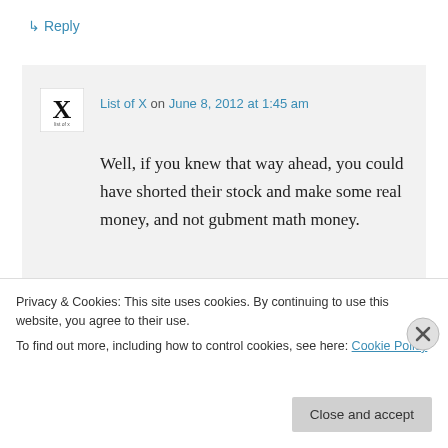↳ Reply
List of X on June 8, 2012 at 1:45 am
Well, if you knew that way ahead, you could have shorted their stock and make some real money, and not gubment math money.
★ Like
Privacy & Cookies: This site uses cookies. By continuing to use this website, you agree to their use.
To find out more, including how to control cookies, see here: Cookie Policy
Close and accept